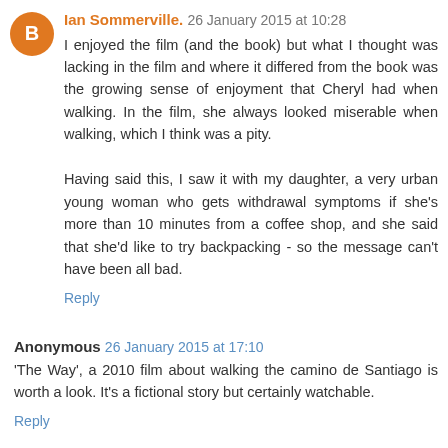Ian Sommerville. 26 January 2015 at 10:28
I enjoyed the film (and the book) but what I thought was lacking in the film and where it differed from the book was the growing sense of enjoyment that Cheryl had when walking. In the film, she always looked miserable when walking, which I think was a pity.

Having said this, I saw it with my daughter, a very urban young woman who gets withdrawal symptoms if she's more than 10 minutes from a coffee shop, and she said that she'd like to try backpacking - so the message can't have been all bad.
Reply
Anonymous 26 January 2015 at 17:10
'The Way', a 2010 film about walking the camino de Santiago is worth a look. It's a fictional story but certainly watchable.
Reply